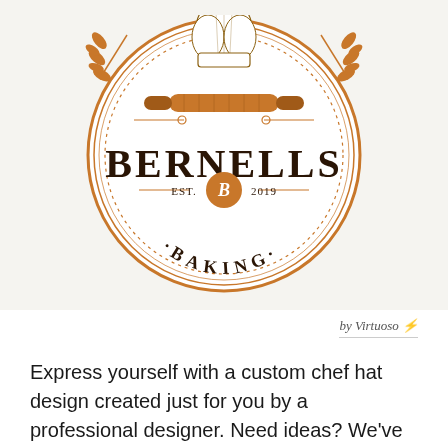[Figure (logo): Bernells Baking circular vintage logo with chef hat, rolling pin, wheat branches, EST. 2019, and stylized B monogram on orange circle]
by Virtuoso
Express yourself with a custom chef hat design created just for you by a professional designer. Need ideas? We've collected some amazing